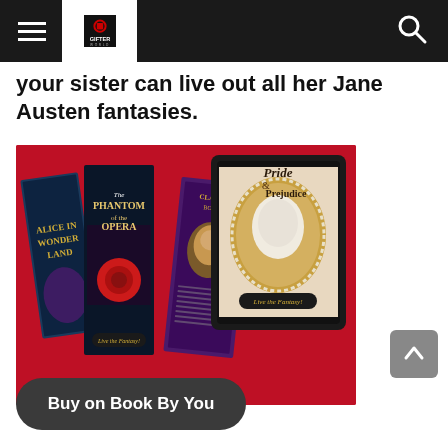Gifter World — navigation header with hamburger menu and search icon
your sister can live out all her Jane Austen fantasies.
[Figure (photo): Product photo showing classic books (Alice in Wonderland, The Phantom of the Opera) and a tablet displaying Pride & Prejudice cover with cameo image, against a red background.]
Buy on Book By You